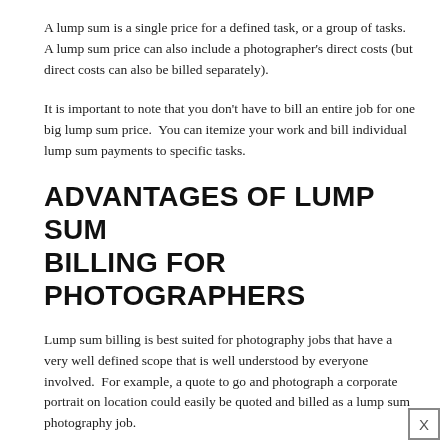A lump sum is a single price for a defined task, or a group of tasks. A lump sum price can also include a photographer's direct costs (but direct costs can also be billed separately).
It is important to note that you don't have to bill an entire job for one big lump sum price. You can itemize your work and bill individual lump sum payments to specific tasks.
ADVANTAGES OF LUMP SUM BILLING FOR PHOTOGRAPHERS
Lump sum billing is best suited for photography jobs that have a very well defined scope that is well understood by everyone involved. For example, a quote to go and photograph a corporate portrait on location could easily be quoted and billed as a lump sum photography job.
Lump sum billing also gives photographers an incentive to improve their efficiency, as they are paid the same to complete a task in one